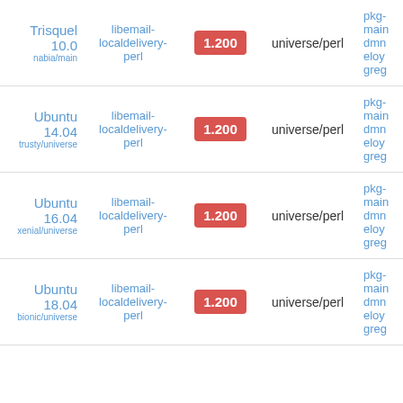| Distribution | Package | Version | Section | Maintainers |
| --- | --- | --- | --- | --- |
| Trisquel 10.0 nabia/main | libemail-localdelivery-perl | 1.200 | universe/perl | pkg-
main
dmn
eloy
greg |
| Ubuntu 14.04 trusty/universe | libemail-localdelivery-perl | 1.200 | universe/perl | pkg-
main
dmn
eloy
greg |
| Ubuntu 16.04 xenial/universe | libemail-localdelivery-perl | 1.200 | universe/perl | pkg-
main
dmn
eloy
greg |
| Ubuntu 18.04 bionic/universe | libemail-localdelivery-perl | 1.200 | universe/perl | pkg-
main
dmn
eloy
greg |